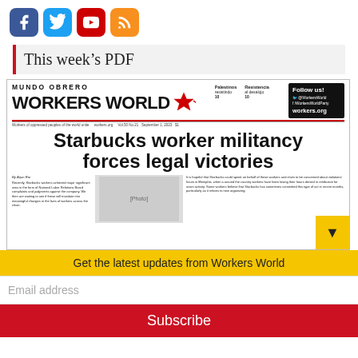[Figure (logo): Social media icons: Facebook (blue), Twitter (light blue), YouTube (red), RSS (orange)]
This week's PDF
[Figure (screenshot): Thumbnail of Workers World / Mundo Obrero newspaper front page with headline 'Starbucks worker militancy forces legal victories']
Get the latest updates from Workers World
Email address
Subscribe